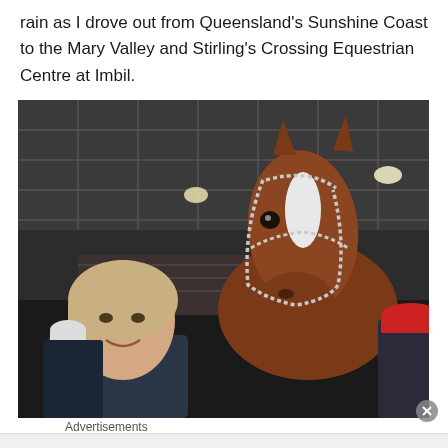rain as I drove out from Queensland's Sunshine Coast to the Mary Valley and Stirling's Crossing Equestrian Centre at Imbil.
[Figure (photo): A woman with blonde hair smiling beside a chestnut horse with a white blaze, wearing a decorative bridle. They are inside a large indoor equestrian arena with a steel grid ceiling and overhead lights. Another person wearing a red cap is visible on the right side.]
Advertisements